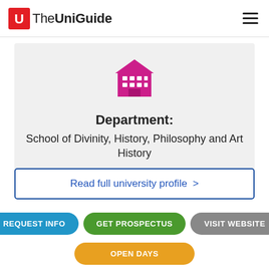TheUniGuide
[Figure (illustration): Pink/magenta building/department icon (house with grid of windows)]
Department:
School of Divinity, History, Philosophy and Art History
Read full university profile >
REQUEST INFO
GET PROSPECTUS
VISIT WEBSITE
OPEN DAYS